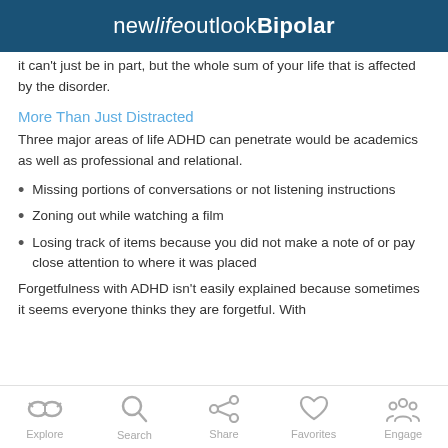newlifeoutlookBipolar
it can't just be in part, but the whole sum of your life that is affected by the disorder.
More Than Just Distracted
Three major areas of life ADHD can penetrate would be academics as well as professional and relational.
Missing portions of conversations or not listening instructions
Zoning out while watching a film
Losing track of items because you did not make a note of or pay close attention to where it was placed
Forgetfulness with ADHD isn't easily explained because sometimes it seems everyone thinks they are forgetful. With
Explore  Search  Share  Favorites  Engage